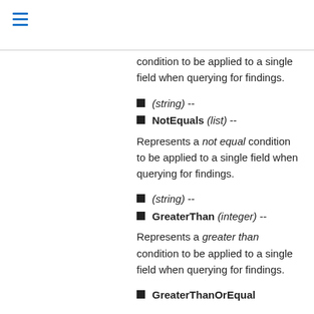condition to be applied to a single field when querying for findings.
(string) --
NotEquals (list) --
Represents a not equal condition to be applied to a single field when querying for findings.
(string) --
GreaterThan (integer) --
Represents a greater than condition to be applied to a single field when querying for findings.
GreaterThanOrEqual